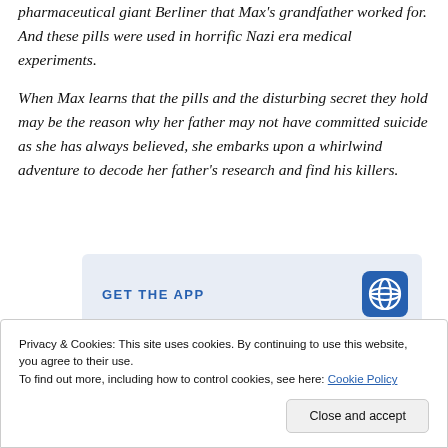pharmaceutical giant Berliner that Max's grandfather worked for. And these pills were used in horrific Nazi era medical experiments.
When Max learns that the pills and the disturbing secret they hold may be the reason why her father may not have committed suicide as she has always believed, she embarks upon a whirlwind adventure to decode her father's research and find his killers.
[Figure (screenshot): GET THE APP banner with WordPress logo icon on a light blue-grey background]
Privacy & Cookies: This site uses cookies. By continuing to use this website, you agree to their use. To find out more, including how to control cookies, see here: Cookie Policy
Close and accept